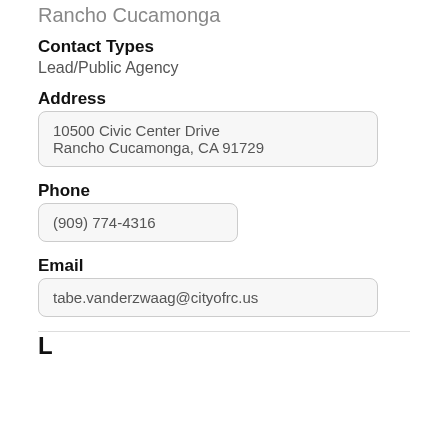Rancho Cucamonga
Contact Types
Lead/Public Agency
Address
10500 Civic Center Drive
Rancho Cucamonga, CA 91729
Phone
(909) 774-4316
Email
tabe.vanderzwaag@cityofrc.us